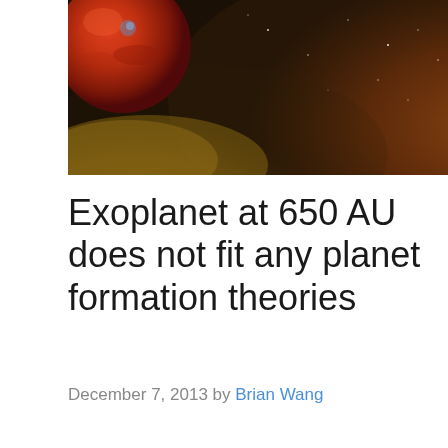[Figure (illustration): Space illustration showing a large reddish-orange planet or exoplanet in the upper left against a background of nebula-like clouds in orange and brown tones with stars]
Exoplanet at 650 AU does not fit any planet formation theories
December 7, 2013 by Brian Wang